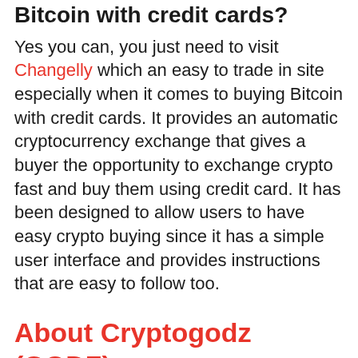Bitcoin with credit cards?
Yes you can, you just need to visit Changelly which an easy to trade in site especially when it comes to buying Bitcoin with credit cards. It provides an automatic cryptocurrency exchange that gives a buyer the opportunity to exchange crypto fast and buy them using credit card. It has been designed to allow users to have easy crypto buying since it has a simple user interface and provides instructions that are easy to follow too.
About Cryptogodz (GODZ)
Cryptogodz is a universe of P2P NFT gaming inspired by one of the biggest game in history DOTA 2. The game Cryptogodz is...